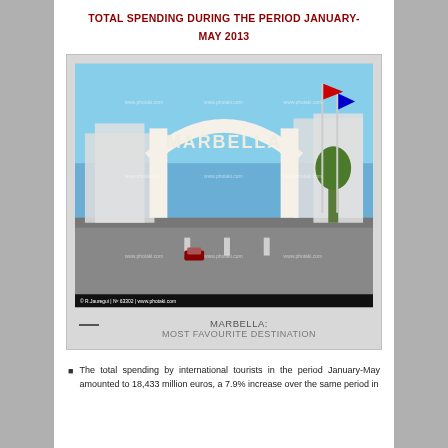TOTAL SPENDING DURING THE PERIOD JANUARY-MAY 2013
[Figure (photo): Photograph of the Marbella arch monument with the word MARBELLA, flags, road, and buildings in the background. Watermarked stock photo.]
MARBELLA: MOST FAVOURITE DESTINATION
The total spending by international tourists in the period January-May amounted to 18,433 million euros, a 7.9% increase over the same period in